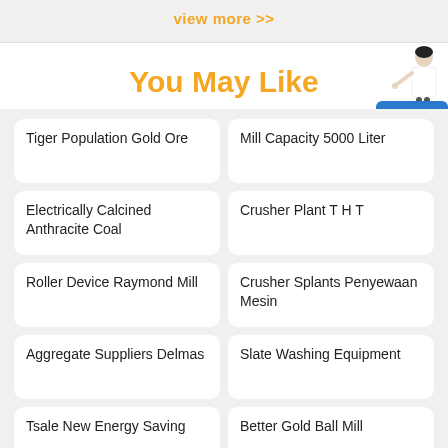view more >>
You May Like
Tiger Population Gold Ore
Mill Capacity 5000 Liter
Electrically Calcined Anthracite Coal
Crusher Plant T H T
Roller Device Raymond Mill
Crusher Splants Penyewaan Mesin
Aggregate Suppliers Delmas
Slate Washing Equipment
Tsale New Energy Saving
Better Gold Ball Mill